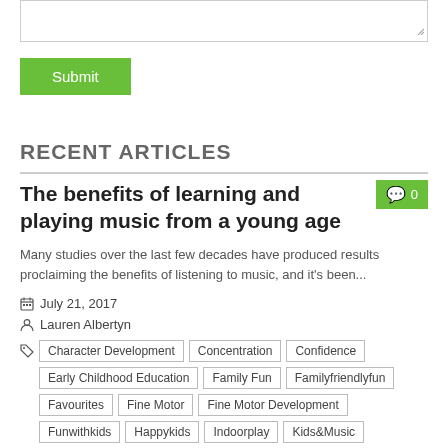[textarea input field]
Submit
RECENT ARTICLES
The benefits of learning and playing music from a young age
Many studies over the last few decades have produced results proclaiming the benefits of listening to music, and it's been...
July 21, 2017
Lauren Albertyn
Character Development
Concentration
Confidence
Early Childhood Education
Family Fun
Familyfriendlyfun
Favourites
Fine Motor
Fine Motor Development
Funwithkids
Happykids
Indoorplay
Kids&Music